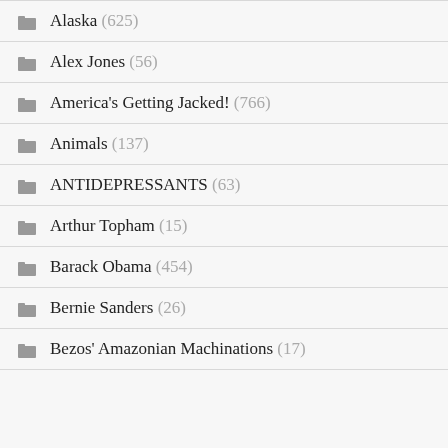Alaska (625)
Alex Jones (56)
America's Getting Jacked! (766)
Animals (137)
ANTIDEPRESSANTS (63)
Arthur Topham (15)
Barack Obama (454)
Bernie Sanders (26)
Bezos' Amazonian Machinations (17)